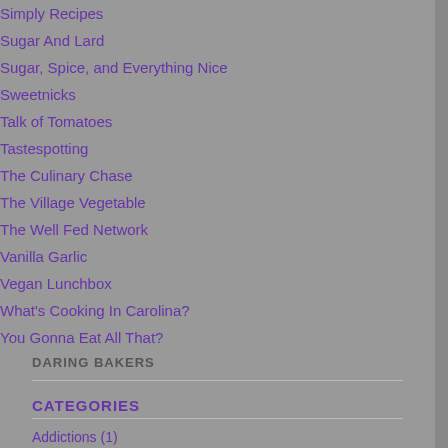Simply Recipes
Sugar And Lard
Sugar, Spice, and Everything Nice
Sweetnicks
Talk of Tomatoes
Tastespotting
The Culinary Chase
The Village Vegetable
The Well Fed Network
Vanilla Garlic
Vegan Lunchbox
What's Cooking In Carolina?
You Gonna Eat All That?
DARING BAKERS
CATEGORIES
Addictions (1)
April Fool's Day (1)
[Figure (photo): Blue circular web-like pattern thumbnail]
We have a very late WCB en... http://books4israel.blogspot.c...
thebookmistress  May...
[Figure (photo): Blue curved web-like pattern thumbnail]
We gave our mum lots of pea... pose for her. Such lovely kitti... cheese looks gooooood.
boo_licious  May 13, 2...
[Figure (photo): Green polygonal pattern thumbnail]
Hi Sher! My still-sneaky departed kitty... Hunting Ground. Purrfect tim... portfolio of her final photo sh... http://www.belly-timber.com/2... happy-cat-hunting-ground/
MizD  May 13, 2007 at 0...